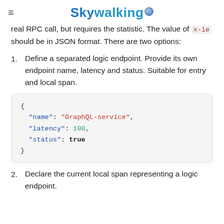Skywalking
real RPC call, but requires the statistic. The value of x-le should be in JSON format. There are two options:
1. Define a separated logic endpoint. Provide its own endpoint name, latency and status. Suitable for entry and local span.
[Figure (other): JSON code block: { "name": "GraphQL-service", "latency": 100, "status": true }]
2. Declare the current local span representing a logic endpoint.